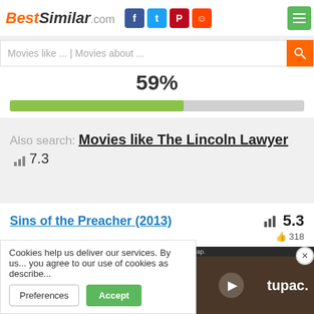BestSimilar.com
Movies like ... | Movies about ...
59%
[Figure (other): Progress bar showing 59% filled in green on grey background]
Also search: Movies like The Lincoln Lawyer 7.3
Sins of the Preacher (2013) 5.3 318
[Figure (photo): Dark movie thumbnail with text: He thought his dark secrets were bu...]
[Figure (photo): Video ad overlay showing a person with text: slap. tupac.]
Cookies help us deliver our services. By us... you agree to our use of cookies as describe...